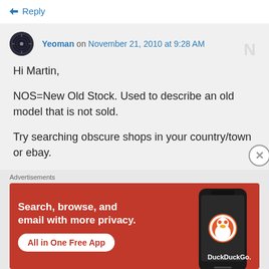↳ Reply
Yeoman on November 21, 2010 at 9:28 AM
Hi Martin,

NOS=New Old Stock. Used to describe an old model that is not sold.

Try searching obscure shops in your country/town or ebay.
Advertisements
[Figure (illustration): DuckDuckGo advertisement banner: orange/red background with text 'Search, browse, and email with more privacy. All in One Free App' and a phone showing the DuckDuckGo logo on the right side.]